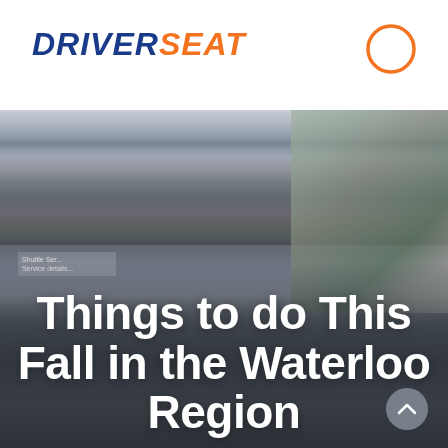[Figure (logo): DriverSeat logo with DRIVER in dark blue bold italic and SEAT in orange bold italic]
[Figure (illustration): Orange circle outline icon in top right corner]
[Figure (photo): A driver wearing an orange cap, face mask, and blue uniform shirt sitting in the driver seat of a van, holding the steering wheel. Van interior visible with seats. Exterior greenery and buildings visible through windshield.]
Things to do This Fall in the Waterloo Region